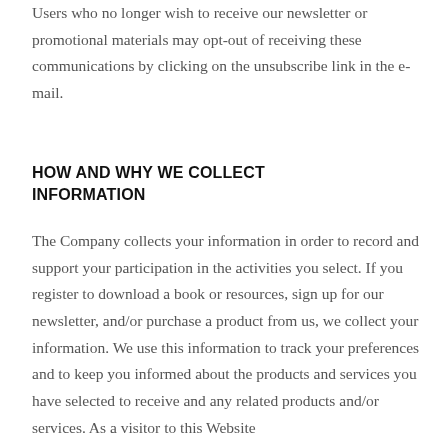Users who no longer wish to receive our newsletter or promotional materials may opt-out of receiving these communications by clicking on the unsubscribe link in the e-mail.
HOW AND WHY WE COLLECT INFORMATION
The Company collects your information in order to record and support your participation in the activities you select. If you register to download a book or resources, sign up for our newsletter, and/or purchase a product from us, we collect your information. We use this information to track your preferences and to keep you informed about the products and services you have selected to receive and any related products and/or services. As a visitor to this Website...